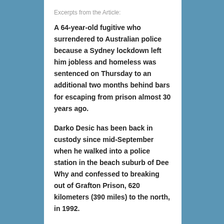Excerpts from the Article:
A 64-year-old fugitive who surrendered to Australian police because a Sydney lockdown left him jobless and homeless was sentenced on Thursday to an additional two months behind bars for escaping from prison almost 30 years ago.
Darko Desic has been back in custody since mid-September when he walked into a police station in the beach suburb of Dee Why and confessed to breaking out of Grafton Prison, 620 kilometers (390 miles) to the north, in 1992.
He pleaded guilty to escaping from